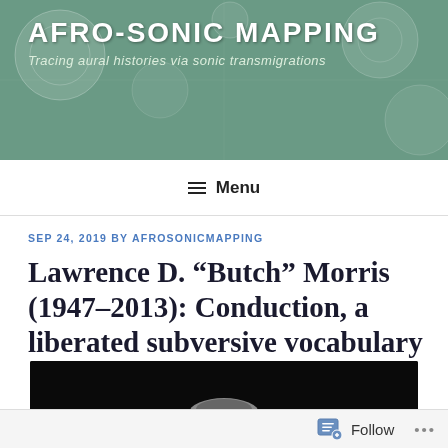AFRO-SONIC MAPPING
Tracing aural histories via sonic transmigrations
≡ Menu
SEP 24, 2019 BY AFROSONICMAPPING
Lawrence D. “Butch” Morris (1947-2013): Conduction, a liberated subversive vocabulary
[Figure (photo): Black and white photo showing the top of a person's head with white/silver hair against a black background]
Follow